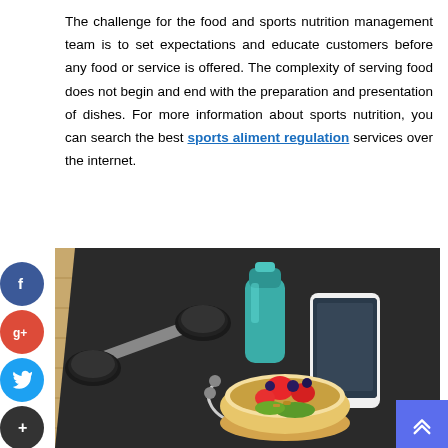The challenge for the food and sports nutrition management team is to set expectations and educate customers before any food or service is offered. The complexity of serving food does not begin and end with the preparation and presentation of dishes. For more information about sports nutrition, you can search the best sports aliment regulation services over the internet.
[Figure (photo): Overhead view of a black yoga/gym mat on a wooden floor, with a dumbbell, a teal sports water bottle, a smartphone with earphones coiled beside it, and a bowl of fresh fruit and granola arranged on the mat.]